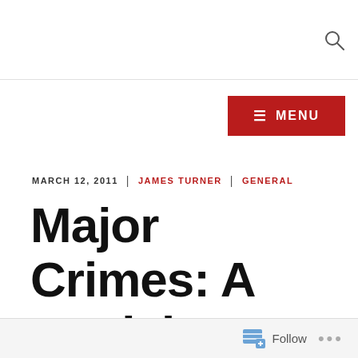MARCH 12, 2011 | JAMES TURNER | GENERAL
Major Crimes: A week in review III
Follow